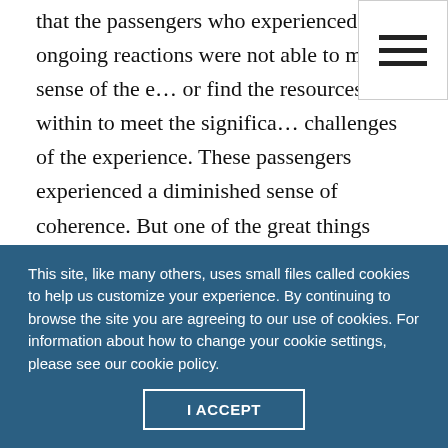that the passengers who experienced ongoing reactions were not able to make sense of the e… or find the resources within to meet the significa… challenges of the experience. These passengers experienced a diminished sense of coherence. But one of the great things about human beings is that we are continually experiencing growth and change. The circumstance of a lack of diminished sense of coherence isn't necessarily permanent.
This site, like many others, uses small files called cookies to help us customize your experience. By continuing to browse the site you are agreeing to our use of cookies. For information about how to change your cookie settings, please see our cookie policy.
I ACCEPT